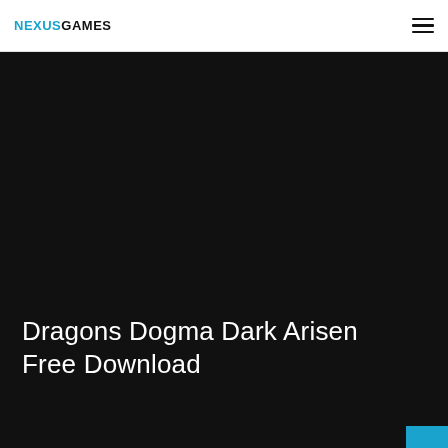NEXUSGAMES
[Figure (photo): Dark hero image background for Dragons Dogma Dark Arisen page]
Dragons Dogma Dark Arisen Free Download